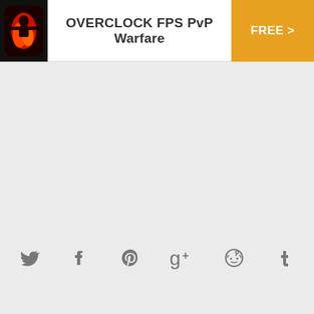[Figure (screenshot): App store banner with game icon for OVERCLOCK FPS PvP Warfare, app title text, and orange FREE button with chevron]
[Figure (infographic): Row of social media share icons: Twitter bird, Facebook f, Pinterest P, Google+ g+, Reddit alien, Tumblr t]